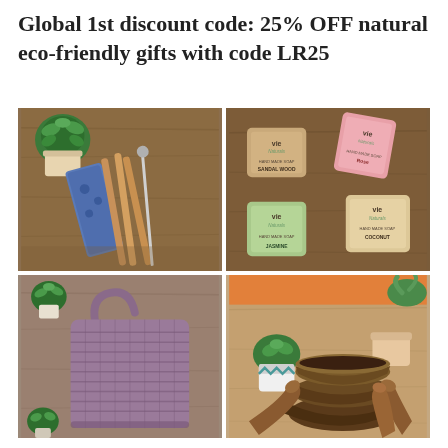Global 1st discount code: 25% OFF natural eco-friendly gifts with code LR25
[Figure (photo): Four product photos in a 2x2 grid: top-left shows bamboo straws with a succulent plant on a wooden surface; top-right shows Vie Naturals hand-made soap bars in Sandalwood, Rose, Jasmine, and Coconut scents; bottom-left shows a purple woven tote bag with succulent plants on a wooden surface; bottom-right shows stacked coconut bowls with wooden spoons and succulent plants.]